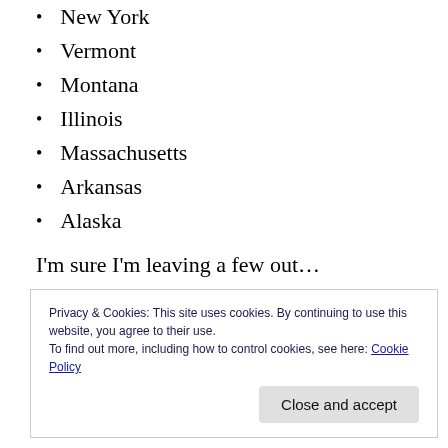New York
Vermont
Montana
Illinois
Massachusetts
Arkansas
Alaska
I'm sure I'm leaving a few out…
Privacy & Cookies: This site uses cookies. By continuing to use this website, you agree to their use. To find out more, including how to control cookies, see here: Cookie Policy